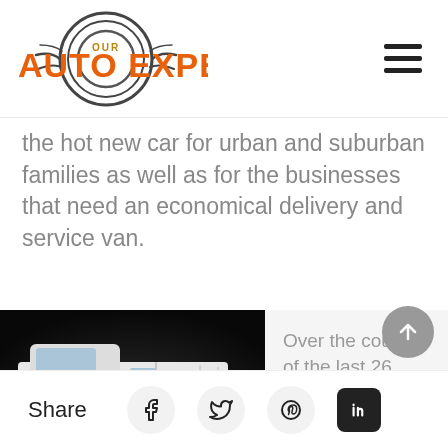[Figure (logo): Our Auto Expert logo with circular tire/wheel graphic and orange bold text]
the hot new car for urban and suburban families as well as for the businesses that need an economical delivery and service van.
[Figure (photo): White cargo/delivery van photographed against a dark background]
Over the course of the last 26 years, the
Share